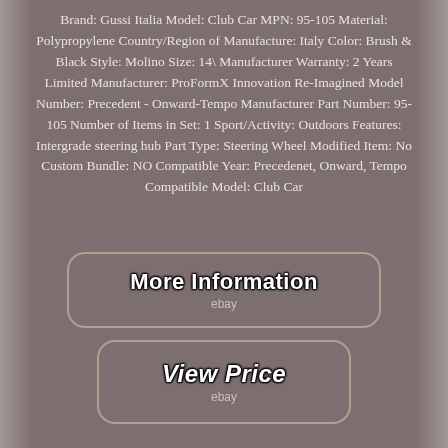Brand: Gussi Italia Model: Club Car MPN: 95-105 Material: Polypropylene Country/Region of Manufacture: Italy Color: Brush & Black Style: Molino Size: 14\ Manufacturer Warranty: 2 Years Limited Manufacturer: ProFormX Innovation Re-Imagined Model Number: Precedent - Onward-Tempo Manufacturer Part Number: 95-105 Number of Items in Set: 1 Sport/Activity: Outdoors Features: Intergrade steering hub Part Type: Steering Wheel Modified Item: No Custom Bundle: NO Compatible Year: Precedenet, Onward, Tempo Compatible Model: Club Car
[Figure (other): Button with rounded rectangle border labeled 'More Information' with 'ebay' subtitle below]
[Figure (other): Button with rounded rectangle border labeled 'View Price' with 'ebay' subtitle below]